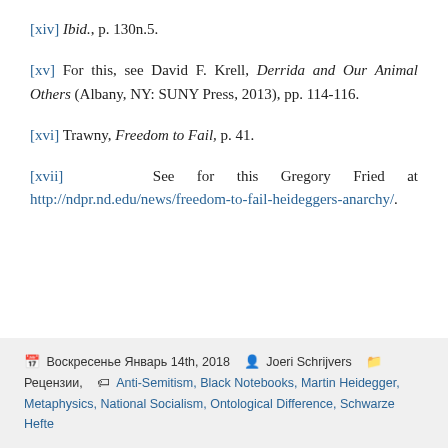[xiv] Ibid., p. 130n.5.
[xv] For this, see David F. Krell, Derrida and Our Animal Others (Albany, NY: SUNY Press, 2013), pp. 114-116.
[xvi] Trawny, Freedom to Fail, p. 41.
[xvii] See for this Gregory Fried at http://ndpr.nd.edu/news/freedom-to-fail-heideggers-anarchy/.
Воскресенье Январь 14th, 2018  Joeri Schrijvers  Рецензии,  Anti-Semitism, Black Notebooks, Martin Heidegger, Metaphysics, National Socialism, Ontological Difference, Schwarze Hefte